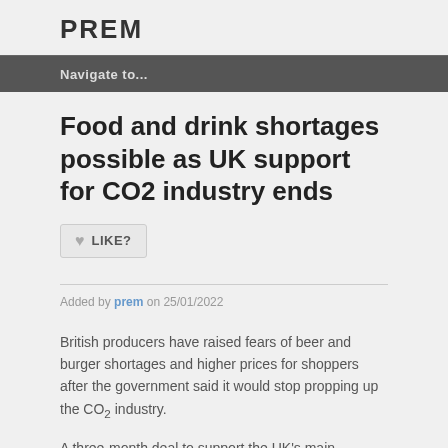PREM
Navigate to...
Food and drink shortages possible as UK support for CO2 industry ends
LIKE?
Added by prem on 25/01/2022
British producers have raised fears of beer and burger shortages and higher prices for shoppers after the government said it would stop propping up the CO2 industry.
A three-month deal to support the UK's main producer of